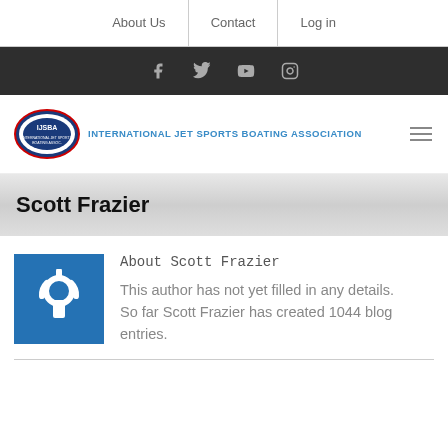About Us | Contact | Log in
[Figure (screenshot): Social media icons: Facebook, Twitter, YouTube, Instagram on dark background]
[Figure (logo): IJSBA logo - oval with eagle, text: INTERNATIONAL JET SPORTS BOATING ASSOCIATION]
Scott Frazier
[Figure (illustration): Blue square with white power button icon - author avatar]
About Scott Frazier
This author has not yet filled in any details.
So far Scott Frazier has created 1044 blog entries.